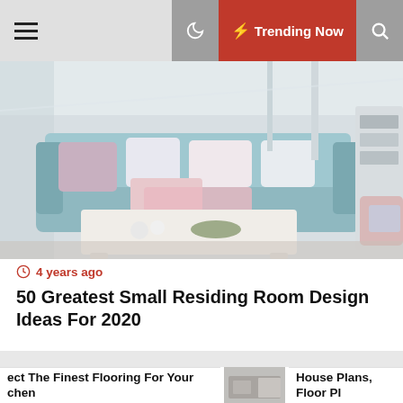Navigation bar with hamburger menu, moon/dark mode icon, Trending Now button, and search icon
[Figure (photo): Living room with light blue sofa, pastel pillows, white coffee table, purple flower arrangement, and bright windows]
4 years ago
50 Greatest Small Residing Room Design Ideas For 2020
[Figure (photo): Modern white kitchen with island, gold candlestick holders, wine glasses, and built-in ovens]
ect The Finest Flooring For Your chen
[Figure (photo): Small thumbnail image of a room interior]
House Plans, Floor Pl